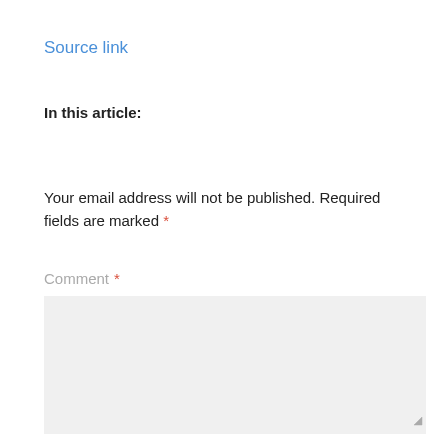Source link
In this article:
Your email address will not be published. Required fields are marked *
Comment *